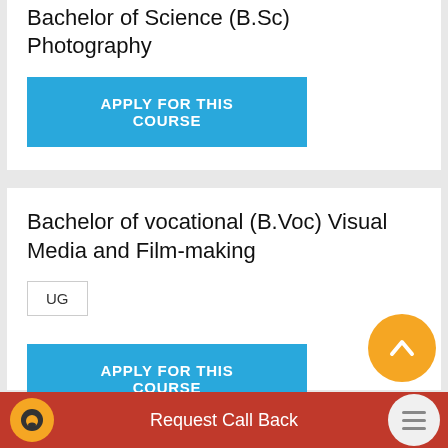Bachelor of Science (B.Sc) Photography
APPLY FOR THIS COURSE
Bachelor of vocational (B.Voc) Visual Media and Film-making
UG
APPLY FOR THIS COURSE
Request Call Back